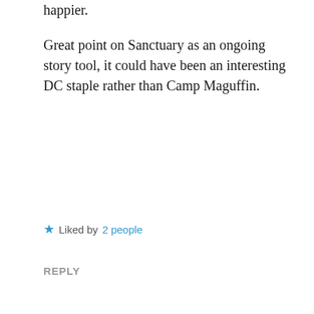happier.
Great point on Sanctuary as an ongoing story tool, it could have been an interesting DC staple rather than Camp Maguffin.
★ Liked by 2 people
REPLY
[Figure (logo): Comics Geezer avatar: dark red geometric snowflake/lattice pattern logo]
COMICS GEEZER (@COMICSNERDLING)
January 31, 2019 at 11:47 pm
I'm warming to it. I think the art in this book is what keeps me coming back. King has really good luck getting artists to work with him who